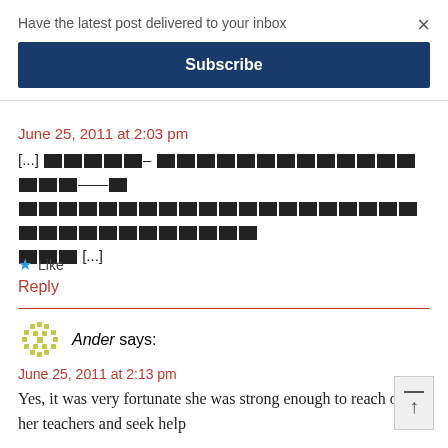Have the latest post delivered to your inbox
×
Subscribe
June 25, 2011 at 2:03 pm
[...] ████– ████████████████——█ ████████████████████████████████ ███ [...]
★ Like
Reply
Ander says:
June 25, 2011 at 2:13 pm
Yes, it was very fortunate she was strong enough to reach out to her teachers and seek help